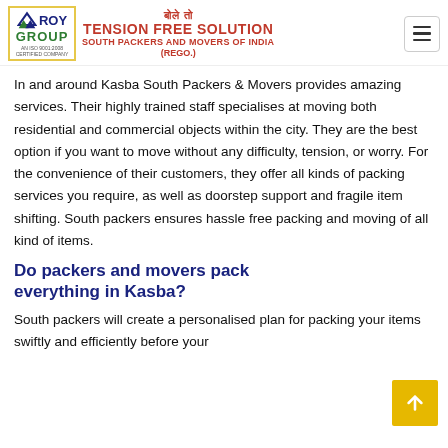Roy Group | Tension Free Solution - South Packers and Movers of India (Rego.)
In and around Kasba South Packers & Movers provides amazing services. Their highly trained staff specialises at moving both residential and commercial objects within the city. They are the best option if you want to move without any difficulty, tension, or worry. For the convenience of their customers, they offer all kinds of packing services you require, as well as doorstep support and fragile item shifting. South packers ensures hassle free packing and moving of all kind of items.
Do packers and movers pack everything in Kasba?
South packers will create a personalised plan for packing your items swiftly and efficiently before your